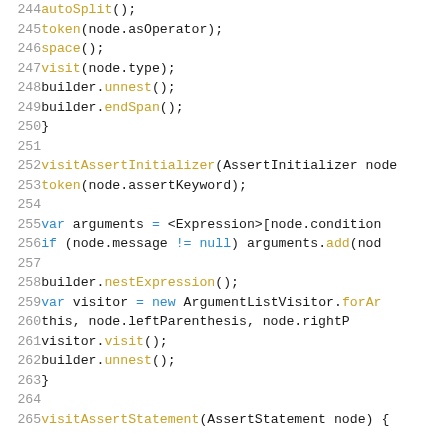[Figure (screenshot): Source code listing showing lines 244-265 of a Dart/Java-like code file, with syntax highlighting. Line numbers in grey on the left, code with blue keywords and gold function names on the right.]